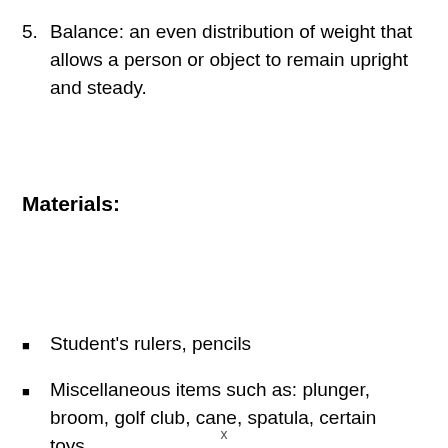5. Balance: an even distribution of weight that allows a person or object to remain upright and steady.
Materials:
Student's rulers, pencils
Miscellaneous items such as: plunger, broom, golf club, cane, spatula, certain toys